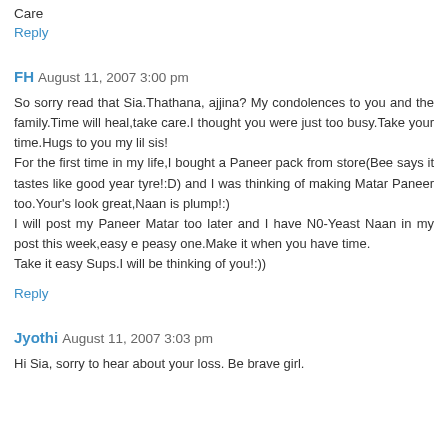Care
Reply
FH  August 11, 2007 3:00 pm
So sorry read that Sia.Thathana, ajjina? My condolences to you and the family.Time will heal,take care.I thought you were just too busy.Take your time.Hugs to you my lil sis!
For the first time in my life,I bought a Paneer pack from store(Bee says it tastes like good year tyre!:D) and I was thinking of making Matar Paneer too.Your's look great,Naan is plump!:)
I will post my Paneer Matar too later and I have N0-Yeast Naan in my post this week,easy e peasy one.Make it when you have time.
Take it easy Sups.I will be thinking of you!:))
Reply
Jyothi  August 11, 2007 3:03 pm
Hi Sia, sorry to hear about your loss. Be brave girl.